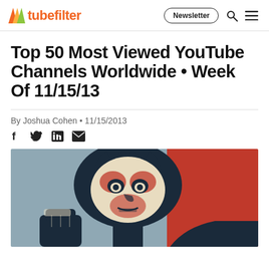tubefilter
Top 50 Most Viewed YouTube Channels Worldwide • Week Of 11/15/13
By Joshua Cohen • 11/15/2013
[Figure (illustration): Stylized pop-art portrait of a person looking upward with a fist raised, rendered in red, dark blue/navy, cream, and muted blue-grey colors in a Shepard Fairey-style graphic illustration.]